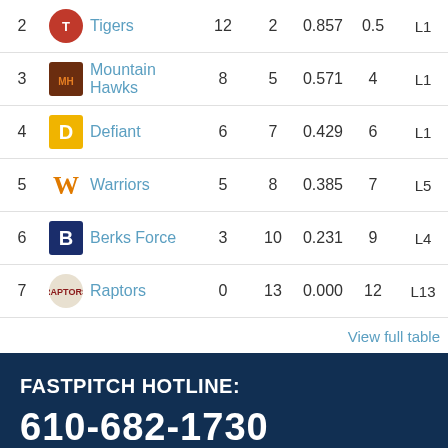| # | Team | W | L | PCT | GB | STRK |
| --- | --- | --- | --- | --- | --- | --- |
| 2 | Tigers | 12 | 2 | 0.857 | 0.5 | L1 |
| 3 | Mountain Hawks | 8 | 5 | 0.571 | 4 | L1 |
| 4 | Defiant | 6 | 7 | 0.429 | 6 | L1 |
| 5 | Warriors | 5 | 8 | 0.385 | 7 | L5 |
| 6 | Berks Force | 3 | 10 | 0.231 | 9 | L4 |
| 7 | Raptors | 0 | 13 | 0.000 | 12 | L13 |
View full table
FASTPITCH HOTLINE:
610-682-1730
PLEASE FOLLOW & LIKE US AT